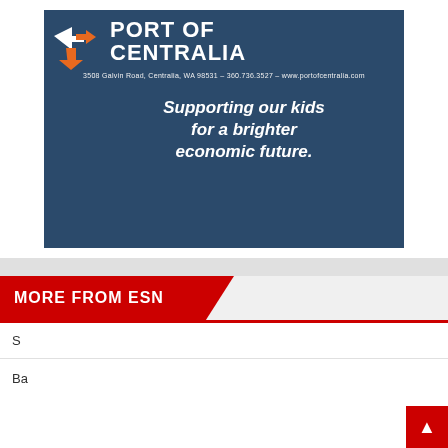[Figure (illustration): Port of Centralia advertisement with dark blue background, logo, and text 'PORT OF CENTRALIA', '3508 Galvin Road, Centralia, WA 98531 - 360.736.3527 - www.portofcentralia.com', and tagline 'Supporting our kids for a brighter economic future.']
MORE FROM ESN
S
Ba
[Figure (infographic): Yellow popup overlay with red text 'WATCH LIVE NOW!' and subtext 'Click here for LIVE high school athletics via Eli Sports on the NFHS Network!']